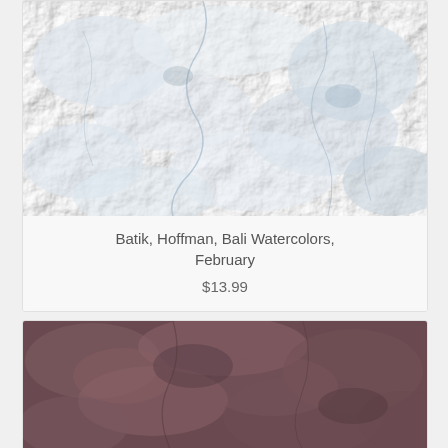[Figure (photo): Light blue-grey batik fabric with watercolor cloud-like texture pattern]
Batik, Hoffman, Bali Watercolors, February
$13.99
[Figure (photo): Dark brown-mauve batik fabric with watercolor cloud-like texture pattern]